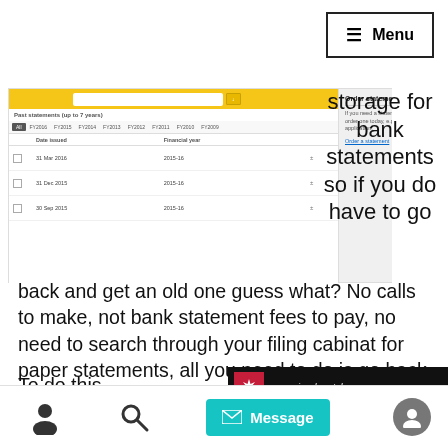Menu
[Figure (screenshot): Screenshot of bank statement portal showing past statements (up to 7 years) with financial year filter tabs (All, FY2016-FY2009) and a table with Date issued and Financial year columns showing entries from 2015-2016. Also shows an 'Order statements' panel on the right.]
storage for bank statements so if you do have to go back and get an old one guess what? No calls to make, not bank statement fees to pay, no need to search through your filing cabinat for paper statements, all you need to do is go back to that period and download the file as a PDF and email it to your accountant or bookkeeper.
To do this
[Figure (screenshot): Partial screenshot showing a maple leaf logo and text 'more give, less take']